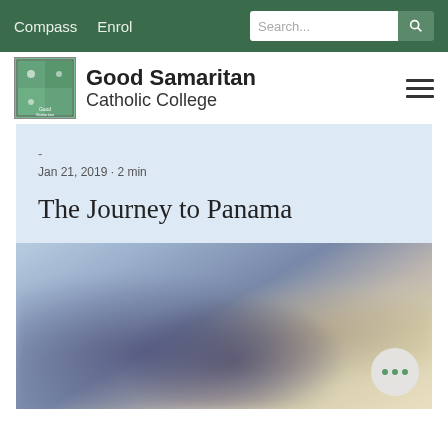Compass  Enrol  Search...
[Figure (logo): Good Samaritan Catholic College logo — green square with cross and decorative elements]
Good Samaritan Catholic College
Jan 21, 2019 · 2 min
The Journey to Panama
[Figure (photo): Blurred photo of people, appears to be students or travellers]